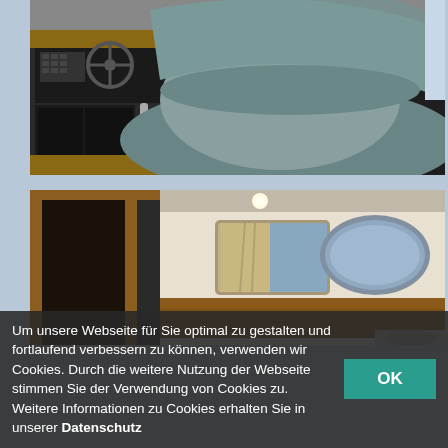[Figure (photo): Interior of a boat showing a helm/dashboard area on the left with steering wheel, wooden cabinetry, and a large plush grey/teal cushioned seat or armchair in the foreground and right side.]
[Figure (photo): Interior cabin of a boat showing a doorway/corridor on the left with wooden trim, two portholes on the wall (one rectangular with curtains, one oval), and a wooden headboard/bunk bed panel below.]
Um unsere Webseite für Sie optimal zu gestalten und fortlaufend verbessern zu können, verwenden wir Cookies. Durch die weitere Nutzung der Webseite stimmen Sie der Verwendung von Cookies zu. Weitere Informationen zu Cookies erhalten Sie in unserer Datenschutz